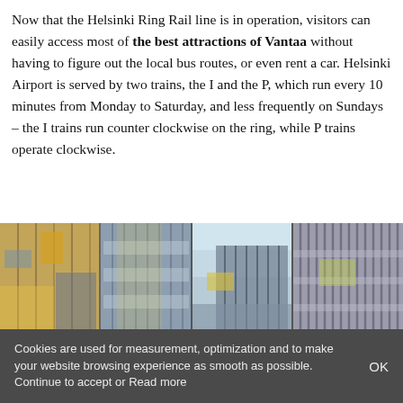Now that the Helsinki Ring Rail line is in operation, visitors can easily access most of the best attractions of Vantaa without having to figure out the local bus routes, or even rent a car. Helsinki Airport is served by two trains, the I and the P, which run every 10 minutes from Monday to Saturday, and less frequently on Sundays – the I trains run counter clockwise on the ring, while P trains operate clockwise.
[Figure (photo): Collage of urban/airport building facades with glass and steel architecture, showing reflective modern structures in multiple panels side by side.]
Cookies are used for measurement, optimization and to make your website browsing experience as smooth as possible. Continue to accept or Read more